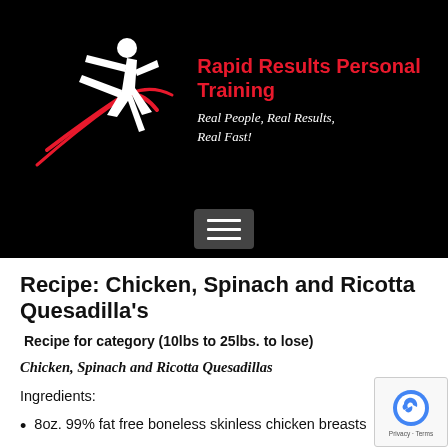[Figure (logo): Rapid Results Personal Training logo: white silhouette of a person doing a martial arts kick with red swoosh lines on black background, beside brand name and tagline]
Rapid Results Personal Training
Real People, Real Results, Real Fast!
[Figure (screenshot): Hamburger menu button (three white horizontal lines on dark gray button background)]
Recipe: Chicken, Spinach and Ricotta Quesadilla’s
Recipe for category (10lbs to 25lbs. to lose)
Chicken, Spinach and Ricotta Quesadillas
Ingredients:
8oz. 99% fat free boneless skinless chicken breasts